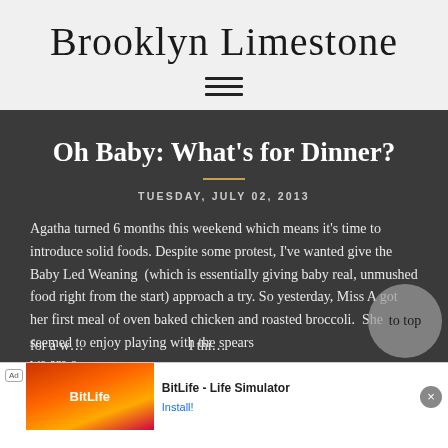Brooklyn Limestone
Oh Baby: What's for Dinner?
TUESDAY, JULY 02, 2013
Agatha turned 6 months this weekend which means it's time to introduce solid foods. Despite some protest, I've wanted give the Baby Led Weaning  (which is essentially giving baby real, unmushed food right from the start) approach a try. So yesterday, Miss A got her first meal of oven baked chicken and roasted broccoli.  She seemed to enjoy playing with the spears for a w… I thi… we are o…
[Figure (screenshot): Ad banner at bottom: BitLife - Life Simulator app advertisement with Install button and close button]